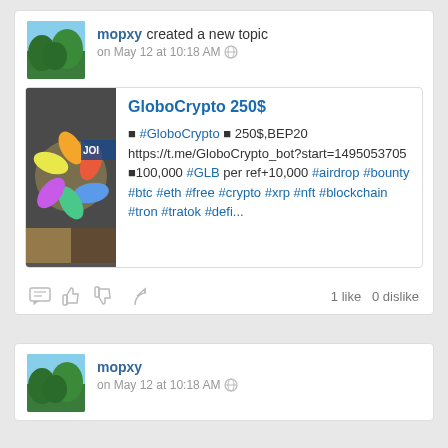mopxy created a new topic
on May 12 at 10:18 AM
GloboCrypto 250$
■ #GloboCrypto ■ 250$,BEP20 https://t.me/GloboCrypto_bot?start=1495053705 ■100,000 #GLB per ref+10,000 #airdrop #bounty #btc #eth #free #crypto #xrp #nft #blockchain #tron #tratok #defi...
1 like   0 dislike
mopxy
on May 12 at 10:18 AM